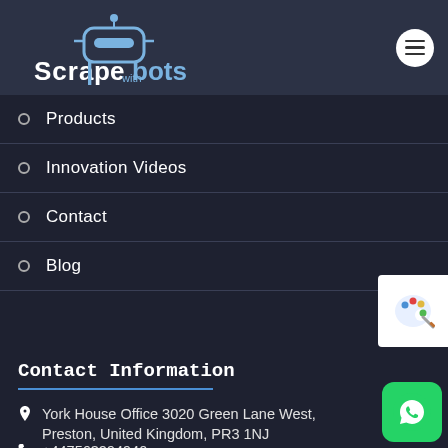[Figure (logo): Scrape with bots logo — robot head icon in blue above stylized text 'Scra|pe with bots' in white and blue]
Products
Innovation Videos
Contact
Blog
Contact Information
York House Office 3020 Green Lane West, Preston, United Kingdom, PR3 1NJ
+447563294940
support@scrapewithbots.com